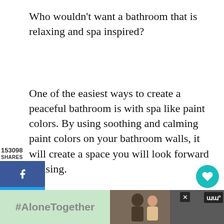Who wouldn't want a bathroom that is relaxing and spa inspired?
One of the easiest ways to create a peaceful bathroom is with spa like paint colors. By using soothing and calming paint colors on your bathroom walls, it will create a space you will look forward to using.
153098
SHARES
[Figure (other): Social share sidebar with Facebook (blue), Twitter (blue), and Pinterest (red) buttons]
[Figure (other): Heart/save button in teal circle showing 153K saves]
As you may know, I have been working on our office bathroom renovation. I just picked out the bathroom floor tiles and now I'm currently looking into paint colors for small bathrooms,
[Figure (other): What's Next box with blue-gray tile image and label 'Blue Gray Paint Colors']
[Figure (other): Ad banner at bottom: #AloneTogether with photo of smiling people and Warner Bros logo]